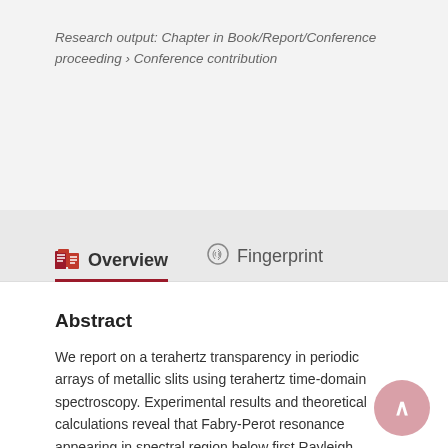Research output: Chapter in Book/Report/Conference proceeding › Conference contribution
Overview
Fingerprint
Abstract
We report on a terahertz transparency in periodic arrays of metallic slits using terahertz time-domain spectroscopy. Experimental results and theoretical calculations reveal that Fabry-Perot resonance appearing in spectral region below first Rayleigh minimum strongly enhances terahertz transmission and